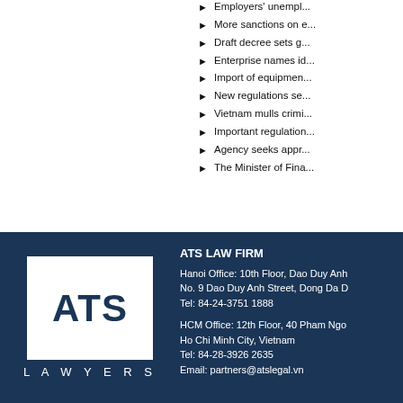Employers' unemployment...
More sanctions on e...
Draft decree sets g...
Enterprise names id...
Import of equipmen...
New regulations se...
Vietnam mulls crimi...
Important regulation...
Agency seeks appr...
The Minister of Fina...
[Figure (logo): ATS Lawyers logo - white box with dark blue ATS text, LAWYERS spelled below on dark blue background]
ATS LAW FIRM
Hanoi Office: 10th Floor, Dao Duy Anh No. 9 Dao Duy Anh Street, Dong Da D
Tel: 84-24-3751 1888
HCM Office: 12th Floor, 40 Pham Ngo
Ho Chi Minh City, Vietnam
Tel: 84-28-3926 2635
Email: partners@atslegal.vn